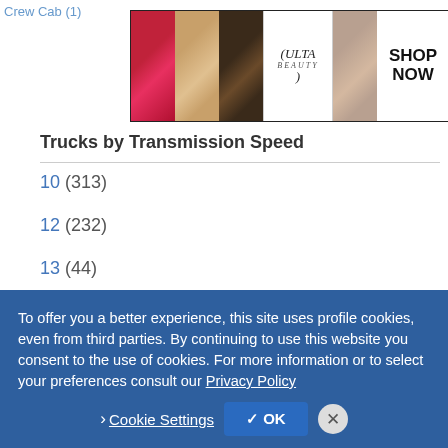Crew Cab (1)
[Figure (photo): Ulta Beauty advertisement banner with makeup images (lips, brush, eye), Ulta logo, model eyes, and SHOP NOW text]
Trucks by Transmission Speed
10 (313)
12 (232)
13 (44)
18 (6)
Trucks by Transmission T
To offer you a better experience, this site uses profile cookies, even from third parties. By continuing to use this website you consent to the use of cookies. For more information or to select your preferences consult our Privacy Policy